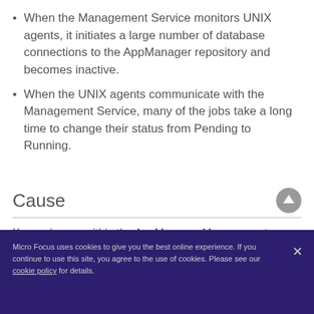When the Management Service monitors UNIX agents, it initiates a large number of database connections to the AppManager repository and becomes inactive.
When the UNIX agents communicate with the Management Service, many of the jobs take a long time to change their status from Pending to Running.
Cause
Known issues within the AppManager Management Service.
Micro Focus uses cookies to give you the best online experience. If you continue to use this site, you agree to the use of cookies. Please see our cookie policy for details.